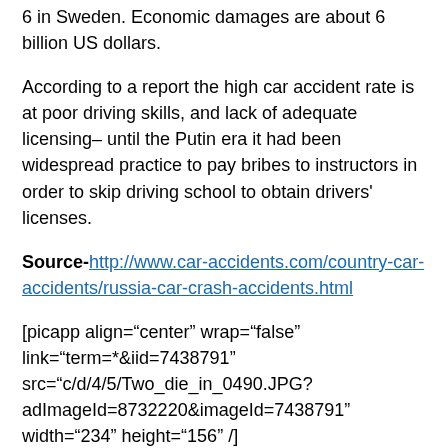6 in Sweden. Economic damages are about 6 billion US dollars.
According to a report the high car accident rate is at poor driving skills, and lack of adequate licensing– until the Putin era it had been widespread practice to pay bribes to instructors in order to skip driving school to obtain drivers' licenses.
Source- http://www.car-accidents.com/country-car-accidents/russia-car-crash-accidents.html
[picapp align="center" wrap="false" link="term=*&iid=7438791" src="c/d/4/5/Two_die_in_0490.JPG?adImageId=8732220&imageId=7438791" width="234" height="156" /]